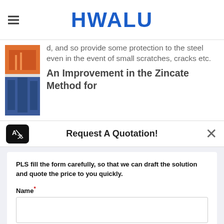HWALU
d, and so provide some protection to the steel even in the event of small scratches, cracks etc.
An Improvement in the Zincate Method for
Request A Quotation!
PLS fill the form carefully, so that we can draft the solution and quote the price to you quickly.
Name*
E-mail*